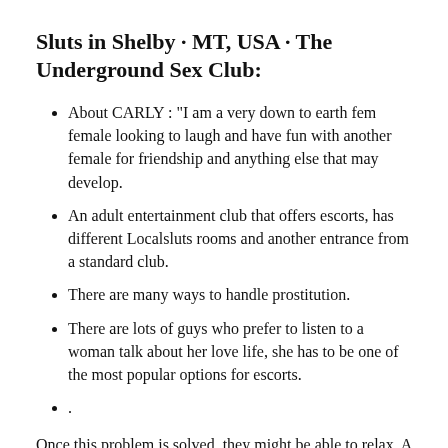Sluts in Shelby · MT, USA · The Underground Sex Club:
About CARLY : "I am a very down to earth fem female looking to laugh and have fun with another female for friendship and anything else that may develop.
An adult entertainment club that offers escorts, has different Localsluts rooms and another entrance from a standard club.
There are many ways to handle prostitution.
There are lots of guys who prefer to listen to a woman talk about her love life, she has to be one of the most popular options for escorts.
.
Once this problem is solved, they might be able to relax. A tip in the john is the best thing for the